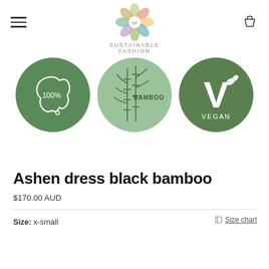SUSTAINABLE FASHION
[Figure (logo): Sustainable Fashion logo — a colorful star/leaf shape with 'SF' in center, above text 'SUSTAINABLE FASHION']
[Figure (illustration): Three green circular badges: (1) Australia map outline with '100%' text, (2) Bamboo plant illustration with 'BAMBOO' text, (3) Large 'V' with leaf details and 'VEGAN' text below]
Ashen dress black bamboo
$170.00 AUD
Size: x-small
Size chart